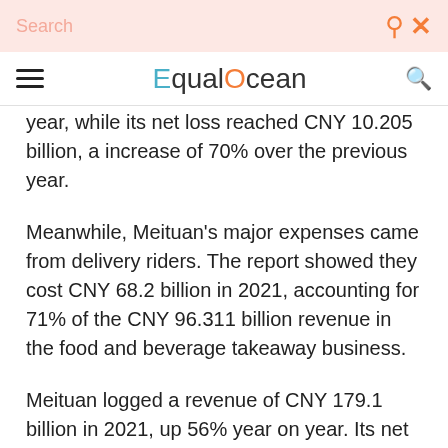Search | EqualOcean
year, while its net loss reached CNY 10.205 billion, a increase of 70% over the previous year.
Meanwhile, Meituan's major expenses came from delivery riders. The report showed they cost CNY 68.2 billion in 2021, accounting for 71% of the CNY 96.311 billion revenue in the food and beverage takeaway business.
Meituan logged a revenue of CNY 179.1 billion in 2021, up 56% year on year. Its net loss was CNY 23.5 billion, compared to a profit of CNY 4.71 billion in the same period of the previous year.